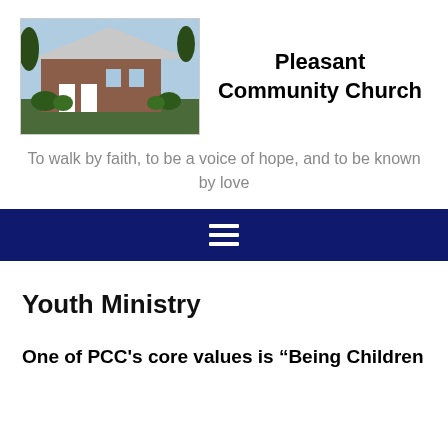[Figure (photo): Exterior photo of Pleasant Community Church building, a brick church with white doors and green shrubs, blue sky background]
Pleasant Community Church
To walk by faith, to be a voice of hope, and to be known by love
[Figure (other): Dark navy navigation bar with hamburger menu icon (three horizontal white lines)]
Youth Ministry
One of PCC's core values is “Being Children